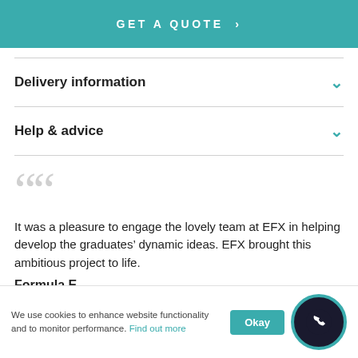GET A QUOTE >
Delivery information
Help & advice
It was a pleasure to engage the lovely team at EFX in helping develop the graduates’ dynamic ideas. EFX brought this ambitious project to life.
Formula E
We use cookies to enhance website functionality and to monitor performance. Find out more